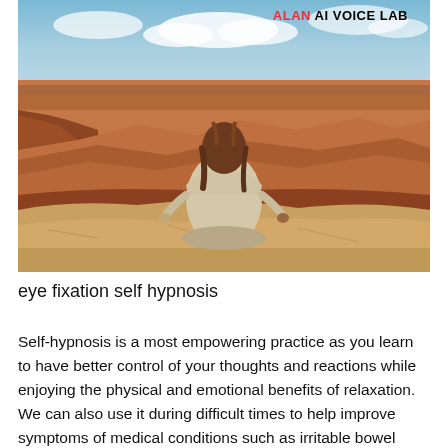[Figure (photo): A woman sitting in a meditation pose on a rocky cliff edge overlooking a vast canyon landscape (resembling the Grand Canyon), viewed from behind. She has brown hair and wears a light beige/cream long-sleeve top. The canyon has layered red-orange rock formations and a partly cloudy sky. The ALAN AI VOICE LAB logo appears in the top right corner of the image.]
eye fixation self hypnosis
Self-hypnosis is a most empowering practice as you learn to have better control of your thoughts and reactions while enjoying the physical and emotional benefits of relaxation. We can also use it during difficult times to help improve symptoms of medical conditions such as irritable bowel syndrome, anxiety